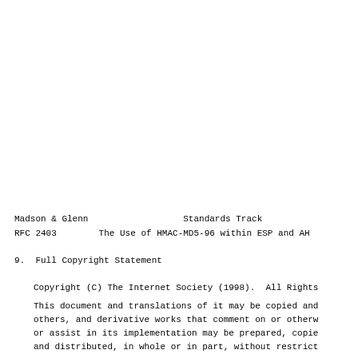Madson & Glenn                    Standards Track
RFC 2403        The Use of HMAC-MD5-96 within ESP and AH
9.  Full Copyright Statement
Copyright (C) The Internet Society (1998).  All Rights
This document and translations of it may be copied and
others, and derivative works that comment on or otherw
or assist in its implementation may be prepared, copie
and distributed, in whole or in part, without restrict